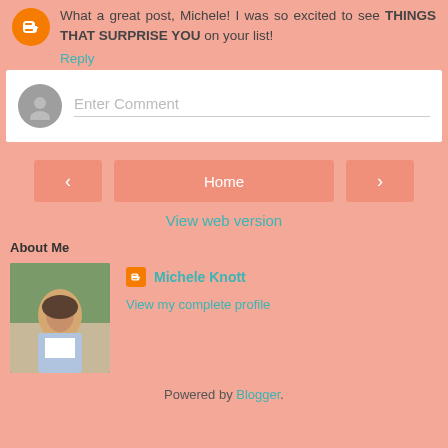What a great post, Michele! I was so excited to see THINGS THAT SURPRISE YOU on your list!
Reply
[Figure (other): Comment input box with user avatar placeholder and 'Enter Comment' placeholder text]
[Figure (other): Navigation buttons: left arrow, Home, right arrow]
View web version
About Me
[Figure (photo): Profile photo of Michele Knott, a woman sitting outdoors]
Michele Knott
View my complete profile
Powered by Blogger.